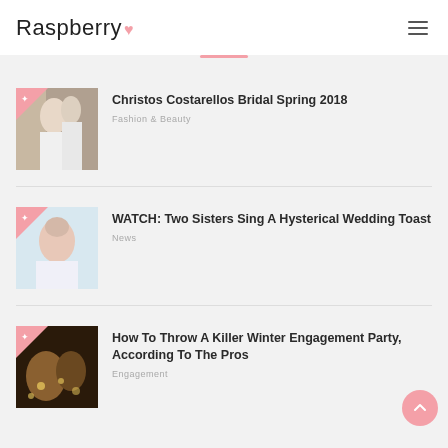Raspberry
Christos Costarellos Bridal Spring 2018 — Fashion & Beauty
WATCH: Two Sisters Sing A Hysterical Wedding Toast — News
How To Throw A Killer Winter Engagement Party, According To The Pros — Engagement